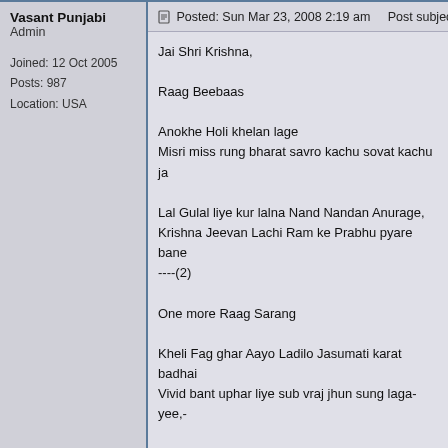Vasant Punjabi
Admin

Joined: 12 Oct 2005
Posts: 987
Location: USA
Posted: Sun Mar 23, 2008 2:19 am    Post subject:
Jai Shri Krishna,

Raag Beebaas

Anokhe Holi khelan lage
Misri miss rung bharat savro kachu sovat kachu ja

Lal Gulal liye kur lalna Nand Nandan Anurage,
Krishna Jeevan Lachi Ram ke Prabhu pyare bane
----(2)

One more Raag Sarang

Kheli Fag ghar Aayo Ladilo Jasumati karat badhai
Vivid bant uphar liye sub vraj jhun sung laga-yee,-

Kunchan thar bhare muktafhal le Aarti ut-ra-ee,
Nandan Nandhan ki ya chabhi upar Surdas bul ja-

Vasant Punjabi.

"Shri Vallabh Shri Vithal Sukh-kari naa-me nishpap
  Nityo Lila nityo naytam shruti no namo nar."